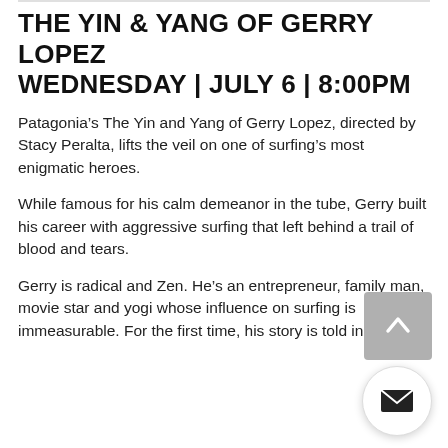THE YIN & YANG OF GERRY LOPEZ WEDNESDAY | JULY 6 | 8:00PM
Patagonia’s The Yin and Yang of Gerry Lopez, directed by Stacy Peralta, lifts the veil on one of surfing’s most enigmatic heroes.
While famous for his calm demeanor in the tube, Gerry built his career with aggressive surfing that left behind a trail of blood and tears.
Gerry is radical and Zen. He’s an entrepreneur, family man, movie star and yogi whose influence on surfing is immeasurable. For the first time, his story is told in full.